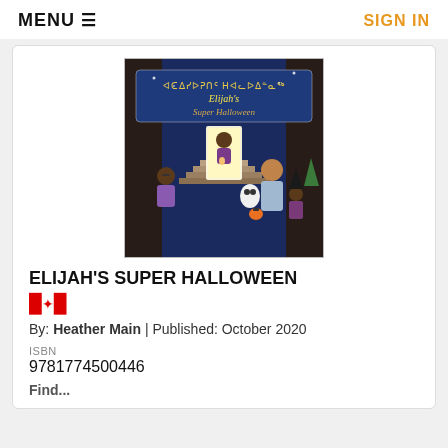MENU ≡   SIGN IN
[Figure (illustration): Book cover of Elijah's Super Halloween showing animated characters in Halloween costumes on steps, with the title in both syllabics and English on a blue banner background.]
ELIJAH'S SUPER HALLOWEEN
🇨🇦
By: Heather Main | Published: October 2020
ISBN
9781774500446
Find...